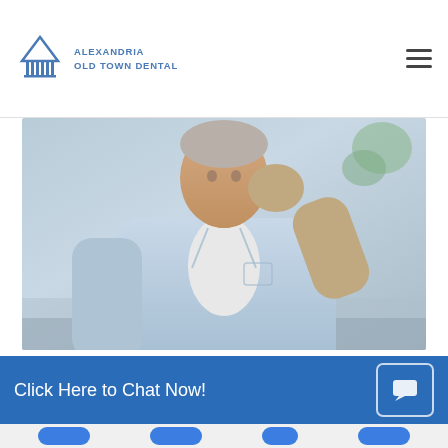Alexandria Old Town Dental
[Figure (photo): Person in light blue shirt holding hand to face/cheek, suggesting tooth pain, sitting on a couch]
What To Do Before Going To An Emergency Dentist
Though they can be extremely painful, not every unexpected dental issue necessitates a visit to an emergency dentist. Whether you wake up in the middle of the night with tooth pain, or if you were in a sports